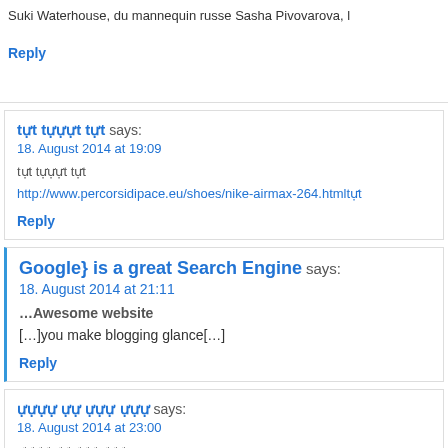Suki Waterhouse, du mannequin russe Sasha Pivovarova, l…
Reply
??? ?????? ??? says:
18. August 2014 at 19:09
??? ?????? ???
http://www.percorsidipace.eu/shoes/nike-airmax-264.html???…
Reply
Google} is a great Search Engine says:
18. August 2014 at 21:11
…Awesome website
[…]you make blogging glance[…]
Reply
???? ?? ??? ??? says:
18. August 2014 at 23:00
???? ?? ??? ???
http://www.nhipcaudautu.vn/upload/investigate/hermes-suns…
Reply